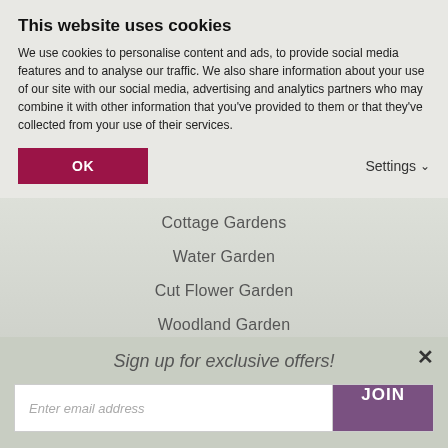This website uses cookies
We use cookies to personalise content and ads, to provide social media features and to analyse our traffic. We also share information about your use of our site with our social media, advertising and analytics partners who may combine it with other information that you've provided to them or that they've collected from your use of their services.
Cottage Gardens
Water Garden
Cut Flower Garden
Woodland Garden
Sign up for exclusive offers!
Enter email address
JOIN